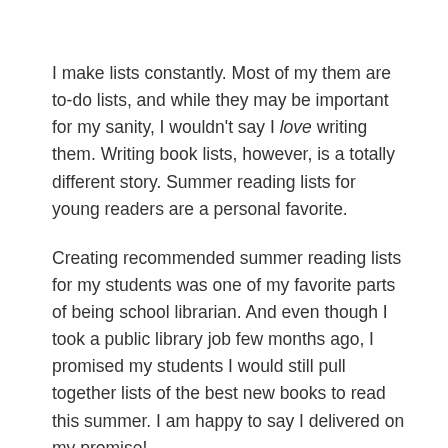I make lists constantly. Most of my them are to-do lists, and while they may be important for my sanity, I wouldn't say I love writing them. Writing book lists, however, is a totally different story. Summer reading lists for young readers are a personal favorite.
Creating recommended summer reading lists for my students was one of my favorite parts of being school librarian. And even though I took a public library job few months ago, I promised my students I would still pull together lists of the best new books to read this summer. I am happy to say I delivered on my promise!